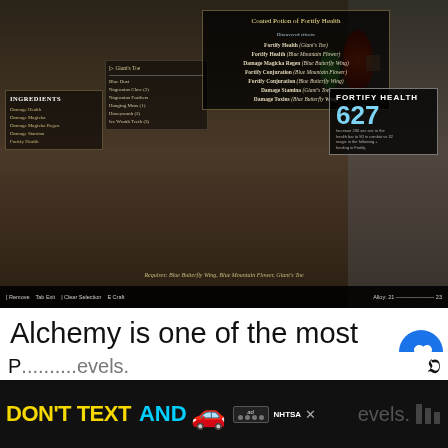[Figure (screenshot): Skyrim alchemy crafting screen showing a Coated Potion of Fortify Health being created. Left panel shows INGREDIENTS list including Damage Health, Damage Magicka, Damage Magicka Regen, Damage Stamina, Fortify Health. Center shows Giant's Toe selected with ingredient list. Right panel shows effect: Fortify Health (Giant's Toe), Fortify Health (Blue Mountain Flower), Damage Magicka Regen (Blue Butterfly Wing), Fortify Conjuration, Damage Stamina, Damage Toxins. FORTIFY HEALTH label with value 627 displayed. Requires: Blue Butterfly Wing, Blue Mountain Flower, Giant's Toe.]
Alchemy is one of the most useful but overlooked skills in Skyrim. Hacking and slashing or blasting your way through Skyri can be made infinitely easier by utilizing certain potions.
[Figure (photo): Thumbnail image for What's Next: Ultimate Skyrim Gold...]
[Figure (screenshot): Advertisement banner: DON'T TEXT AND [car emoji] with NHTSA ad badge and close button. Partially visible text behind ad reads 'P...evels. N...']